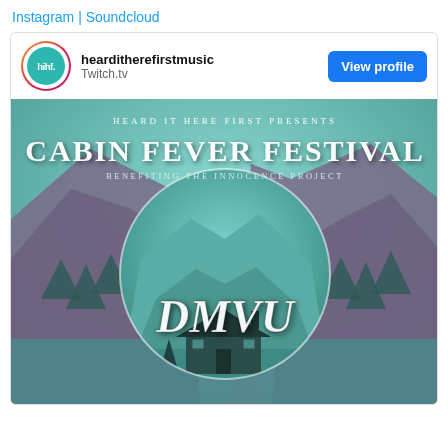Instagram | Soundcloud
[Figure (screenshot): Instagram/social media embed card showing hearditherefirstmusic profile on Twitch.tv with a View profile button, and below it a festival poster image for Cabin Fever Festival benefiting the Innocence Project, featuring DMVU as artist, with a scenic mountain cabin background in teal/mint tones.]